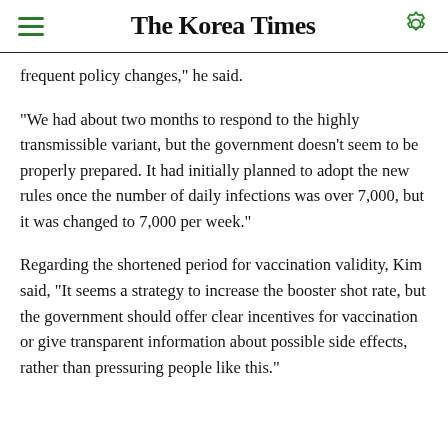The Korea Times
frequent policy changes," he said.
"We had about two months to respond to the highly transmissible variant, but the government doesn't seem to be properly prepared. It had initially planned to adopt the new rules once the number of daily infections was over 7,000, but it was changed to 7,000 per week."
Regarding the shortened period for vaccination validity, Kim said, "It seems a strategy to increase the booster shot rate, but the government should offer clear incentives for vaccination or give transparent information about possible side effects, rather than pressuring people like this."